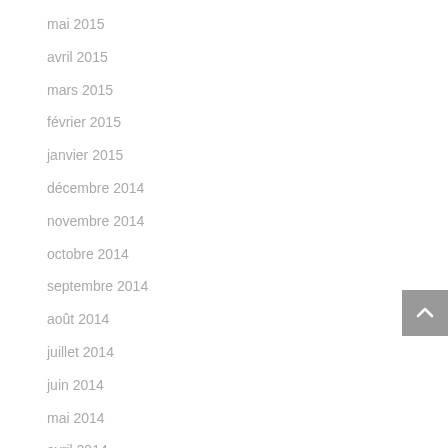mai 2015
avril 2015
mars 2015
février 2015
janvier 2015
décembre 2014
novembre 2014
octobre 2014
septembre 2014
août 2014
juillet 2014
juin 2014
mai 2014
avril 2014